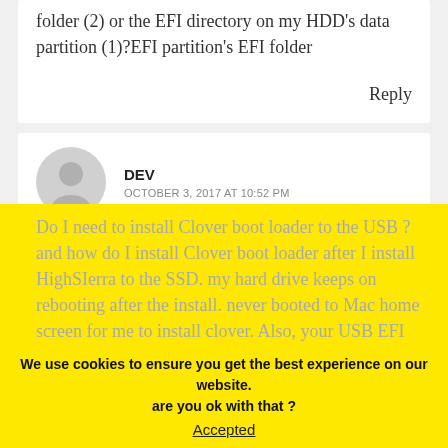folder (2) or the EFI directory on my HDD's data partition (1)?EFI partition's EFI folder
Reply
DEV
OCTOBER 3, 2017 AT 10:52 PM
Do I need to install Clover boot loader to the USB ? and how do I install Clover boot loader after I install HighSIerra to the SSD. my hard drive keeps on rebooting after the install. never booted to Mac home screen for me to install clover. Also, your USB EFI
We use cookies to ensure you get the best experience on our website. are you ok with that ?
Accepted